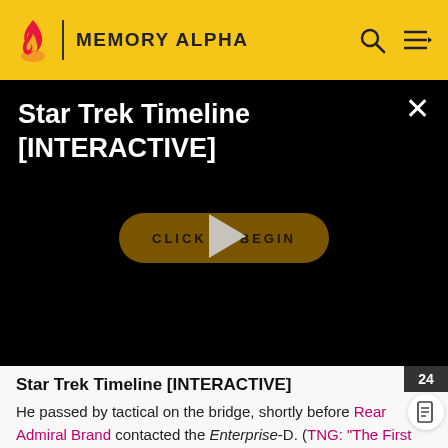MEMORY ALPHA
[Figure (screenshot): Video player overlay with black background showing title 'Star Trek Timeline [INTERACTIVE]', a close button (×), and a dark golden 'CLICK TO BEGIN' button with a play triangle overlaid]
Star Trek Timeline [INTERACTIVE]
He passed by tactical on the bridge, shortly before Rear Admiral Brand contacted the Enterprise-D. (TNG: "The First Duty")